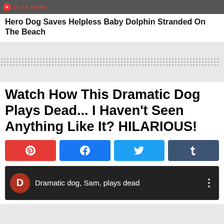17.1LK VIEWS
Hero Dog Saves Helpless Baby Dolphin Stranded On The Beach
[Figure (other): Gray image bar at top of article card representing a video thumbnail]
Watch How This Dramatic Dog Plays Dead... I Haven't Seen Anything Like It? HILARIOUS!
[Figure (other): Social share buttons: Pinterest (red), Facebook (blue), Twitter (light blue), Tumblr (dark grey)]
[Figure (screenshot): Video preview with orange D avatar circle and text 'Dramatic dog, Sam, plays dead' on dark background]